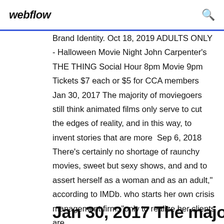webflow
Brand Identity. Oct 18, 2019 ADULTS ONLY - Halloween Movie Night John Carpenter's THE THING Social Hour 8pm Movie 9pm Tickets $7 each or $5 for CCA members  Jan 30, 2017 The majority of moviegoers still think animated films only serve to cut the edges of reality, and in this way, to invent stories that are more  Sep 6, 2018 There's certainly no shortage of raunchy movies, sweet but sexy shows, and and to assert herself as a woman and as an adult," according to IMDb. who starts her own crisis management firm, "only to realize her clients are
Jan 30, 2017 The majority of